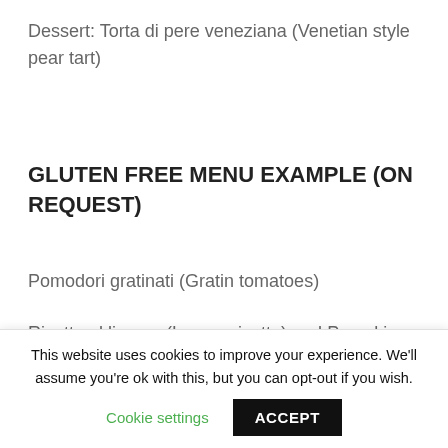Dessert: Torta di pere veneziana (Venetian style pear tart)
GLUTEN FREE MENU EXAMPLE (ON REQUEST)
Pomodori gratinati (Gratin tomatoes)
Risotto al limone (Lemon risotto) and Pumpkin Risotto
Chicken Burano style
This website uses cookies to improve your experience. We'll assume you're ok with this, but you can opt-out if you wish.
Cookie settings
ACCEPT